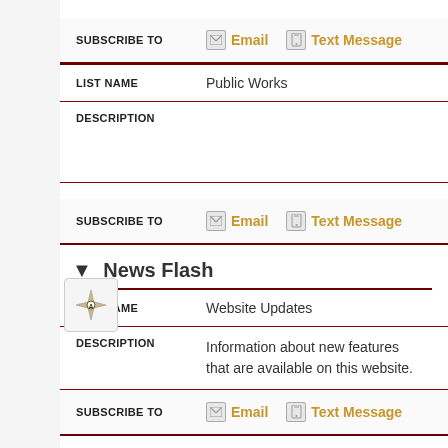SUBSCRIBE TO  Email  Text Message
LIST NAME: Public Works
DESCRIPTION
SUBSCRIBE TO  Email  Text Message
▼ News Flash
LIST NAME: Website Updates
DESCRIPTION: Information about new features that are available on this website.
SUBSCRIBE TO  Email  Text Message